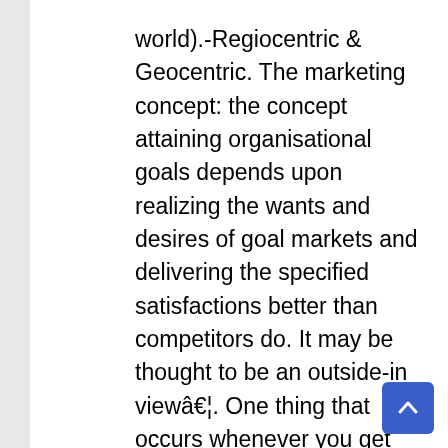world).-Regiocentric & Geocentric. The marketing concept: the concept attaining organisational goals depends upon realizing the wants and desires of goal markets and delivering the specified satisfactions better than competitors do. It may be thought to be an outside-in viewâ€¦. One thing that occurs whenever you get this “panic” shopping for is that the worth of stocks, normally, grow to be overvalued, that means they are really price less than what they are priced at. Usually, enterprise and industrial output does not decline precipitously and markets have time to adjust, however 1929, as you possibly can see by the chart at the proper, industrial production cratered after July 1929. When industrial production dramatically declined in mid-1929,